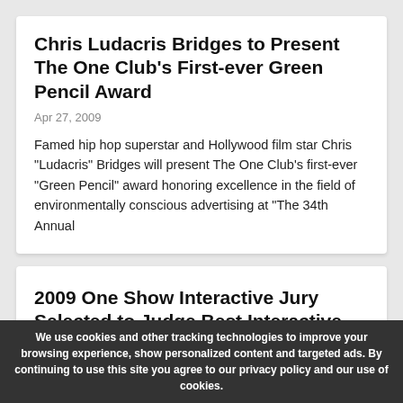Chris Ludacris Bridges to Present The One Club's First-ever Green Pencil Award
Apr 27, 2009
Famed hip hop superstar and Hollywood film star Chris "Ludacris" Bridges will present The One Club's first-ever "Green Pencil" award honoring excellence in the field of environmentally conscious advertising at "The 34th Annual
2009 One Show Interactive Jury Selected to Judge Best Interactive Media for Ad Industry
Feb 20, 2009
28 of the top creative directors in the field of interactive advertising have been selected to judge One Show Interactive, the industry's most prestigious awards
We use cookies and other tracking technologies to improve your browsing experience, show personalized content and targeted ads. By continuing to use this site you agree to our privacy policy and our use of cookies.